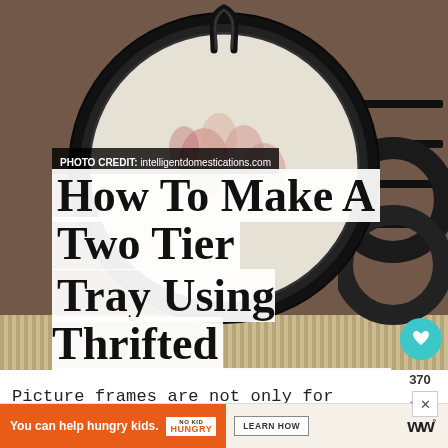[Figure (photo): Photo of a decorative two-tier tray made from thrifted picture frames. A round black picture frame with a floral patterned interior and a black decorative handle at the top, resting on a rope/jute base. Dark picture frames visible on the right side.]
PHOTO CREDIT: intelligentdomestications.com
How To Make A Two Tier Tray Using Thrifted Picture Frames - Intelligent Domestications
Picture frames are not only for pictures! See
[Figure (infographic): Advertisement banner: 'You can help hungry kids.' with No Kid Hungry logo and 'LEARN HOW' button on orange background. WW logo on right side.]